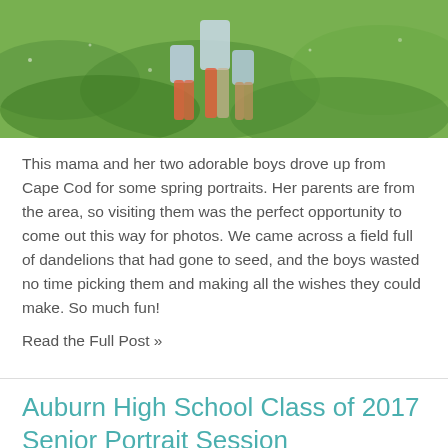[Figure (photo): Top portion of a photo showing two young boys and a woman in a green grassy field, with the subjects partially cropped. The background is lush green grass.]
This mama and her two adorable boys drove up from Cape Cod for some spring portraits. Her parents are from the area, so visiting them was the perfect opportunity to come out this way for photos. We came across a field full of dandelions that had gone to seed, and the boys wasted no time picking them and making all the wishes they could make. So much fun!
Read the Full Post »
Auburn High School Class of 2017 Senior Portrait Session
September 06, 2016    Leave a Comment